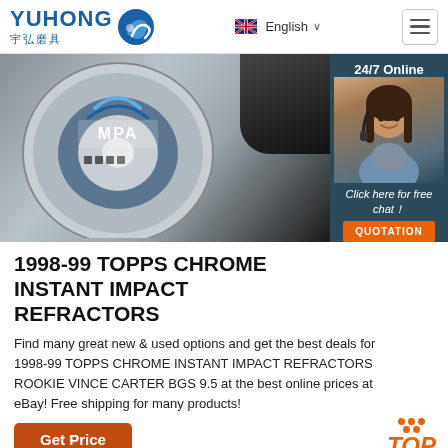YUHONG 宇弘磨具 | English | Menu
[Figure (photo): Product photo showing a Yuhong MPA grinding/cutting disc with black background, and a 24/7 online chat widget with a female customer service representative wearing a headset]
1998-99 TOPPS CHROME INSTANT IMPACT REFRACTORS
Find many great new & used options and get the best deals for 1998-99 TOPPS CHROME INSTANT IMPACT REFRACTORS ROOKIE VINCE CARTER BGS 9.5 at the best online prices at eBay! Free shipping for many products!
Get Price